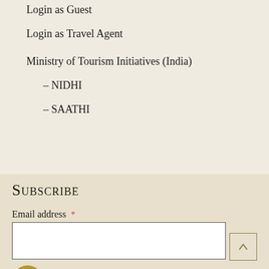Login as Guest
Login as Travel Agent
Ministry of Tourism Initiatives (India)
– NIDHI
– SAATHI
Subscribe
Email address *
consent to receive a weekly newsletter and special offers via email